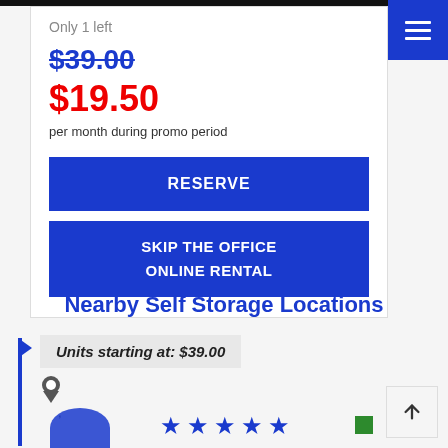Only 1 left
$39.00 (strikethrough)
$19.50
per month during promo period
RESERVE
SKIP THE OFFICE ONLINE RENTAL
Nearby Self Storage Locations
Units starting at: $39.00
[Figure (other): Map pin location icon]
,
[Figure (other): Blue circle partial shape at bottom left]
[Figure (other): Five blue star rating icons]
[Figure (other): Small green square icon]